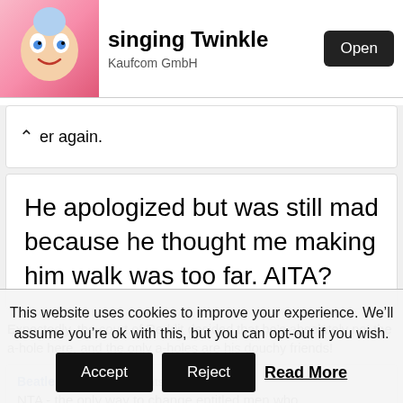[Figure (screenshot): App store banner for 'singing Twinkle' by Kaufcom GmbH with an Open button and animated character icon]
er again.
He apologized but was still mad because he thought me making him walk was too far. AITA?
Expectedly, the court of Reddit decided that he’s absolutely not the a-hole here, and the only a-holes are his douchy friends!
Beatlebot88   29.7k points 16 days ago
NTA - the only way to change entitled men who
This website uses cookies to improve your experience. We’ll assume you’re ok with this, but you can opt-out if you wish.